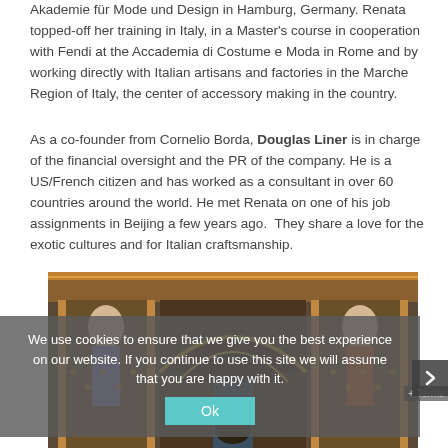Akademie für Mode und Design in Hamburg, Germany. Renata topped-off her training in Italy, in a Master's course in cooperation with Fendi at the Accademia di Costume e Moda in Rome and by working directly with Italian artisans and factories in the Marche Region of Italy, the center of accessory making in the country.
As a co-founder from Cornelio Borda, Douglas Liner is in charge of the financial oversight and the PR of the company. He is a US/French citizen and has worked as a consultant in over 60 countries around the world. He met Renata on one of his job assignments in Beijing a few years ago. They share a love for the exotic cultures and for Italian craftsmanship.
[Figure (photo): Decorative photo of an ornate Middle Eastern or South Asian architectural and artistic scene with intricate tile mosaic work, arched doorway, and figurative paintings on the walls. A cookie consent overlay covers the lower portion of the image.]
We use cookies to ensure that we give you the best experience on our website. If you continue to use this site we will assume that you are happy with it.